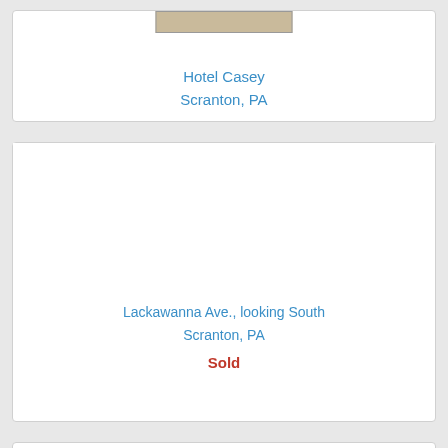[Figure (photo): Postcard image of Hotel Casey, Scranton PA (partially visible at top of page)]
Hotel Casey
Scranton, PA
[Figure (photo): Postcard image of Lackawanna Ave., looking South, Scranton PA (image area appears blank/not loaded)]
Lackawanna Ave., looking South
Scranton, PA
Sold